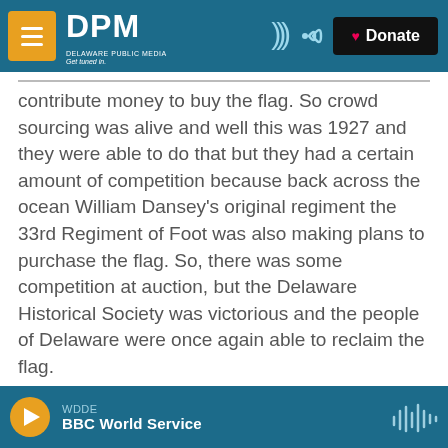DPM Delaware Public Media — Get tuned in. | Donate
contribute money to buy the flag. So crowd sourcing was alive and well this was 1927 and they were able to do that but they had a certain amount of competition because back across the ocean William Dansey's original regiment the 33rd Regiment of Foot was also making plans to purchase the flag. So, there was some competition at auction, but the Delaware Historical Society was victorious and the people of Delaware were once again able to reclaim the flag.
So, in a sense it was Delaware's only Revolutionary War era victory just a hundred and fifty years too
WDDE — BBC World Service